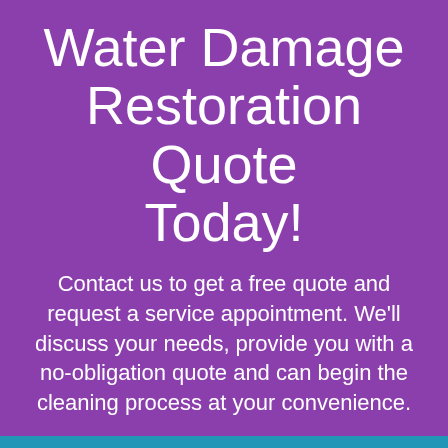Water Damage Restoration Quote Today!
Contact us to get a free quote and request a service appointment. We'll discuss your needs, provide you with a no-obligation quote and can begin the cleaning process at your convenience.
[Figure (other): Green call-to-action button with text 'FREE QUOTE' and a circled arrow icon, on a purple background]